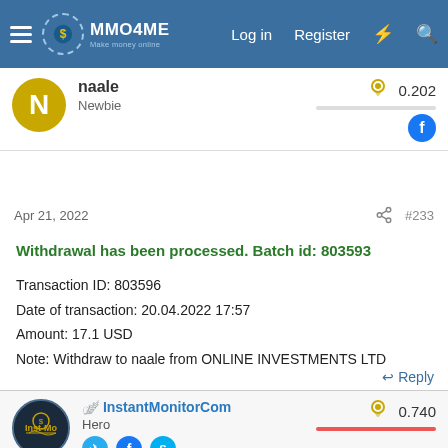MMO4ME - Make money online | Log in | Register
naale
Newbie
0.202
Apr 21, 2022
#233
Withdrawal has been processed. Batch id: 803593

Transaction ID: 803596
Date of transaction: 20.04.2022 17:57
Amount: 17.1 USD
Note: Withdraw to naale from ONLINE INVESTMENTS LTD
Reply
InstantMonitorCom
Hero
0.740